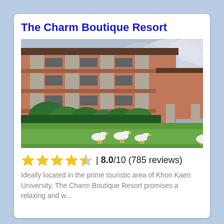The Charm Boutique Resort
[Figure (photo): Exterior photo of The Charm Boutique Resort building with red-brown facade and stone columns, green lawn in foreground with white geese/ducks walking on grass, cloudy sky in background.]
★★★★½ | 8.0/10 (785 reviews)
Ideally located in the prime touristic area of Khon Kaen University, The Charm Boutique Resort promises a relaxing and w...